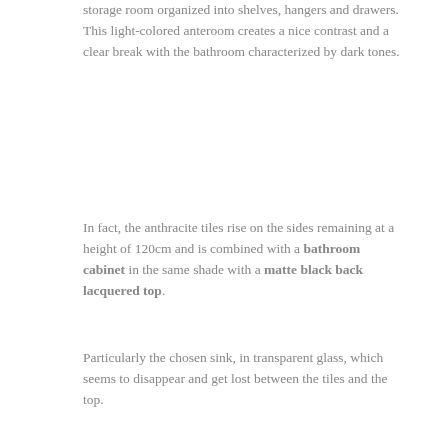storage room organized into shelves, hangers and drawers.
This light-colored anteroom creates a nice contrast and a clear break with the bathroom characterized by dark tones.
In fact, the anthracite tiles rise on the sides remaining at a height of 120cm and is combined with a bathroom cabinet in the same shade with a matte black back lacquered top.
Particularly the chosen sink, in transparent glass, which seems to disappear and get lost between the tiles and the top.